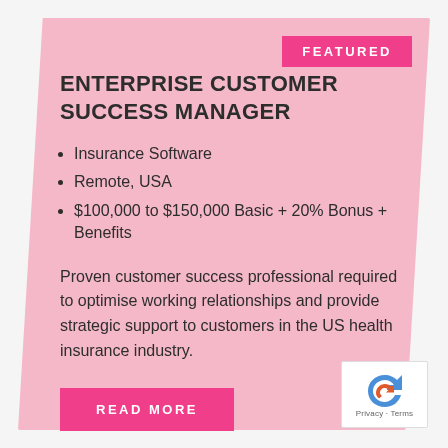FEATURED
ENTERPRISE CUSTOMER SUCCESS MANAGER
Insurance Software
Remote, USA
$100,000 to $150,000 Basic + 20% Bonus + Benefits
Proven customer success professional required to optimise working relationships and provide strategic support to customers in the US health insurance industry.
READ MORE